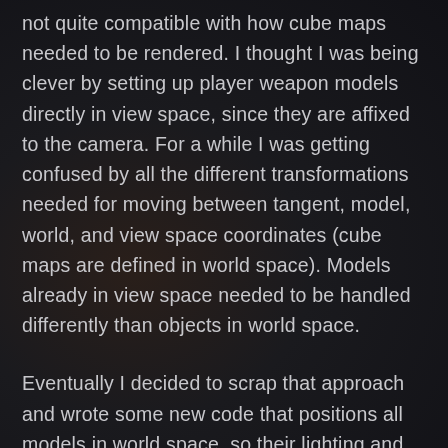not quite compatible with how cube maps needed to be rendered. I thought I was being clever by setting up player weapon models directly in view space, since they are affixed to the camera. For a while I was getting confused by all the different transformations needed for moving between tangent, model, world, and view space coordinates (cube maps are defined in world space). Models already in view space needed to be handled differently than objects in world space.
Eventually I decided to scrap that approach and wrote some new code that positions all models in world space, so their lighting and